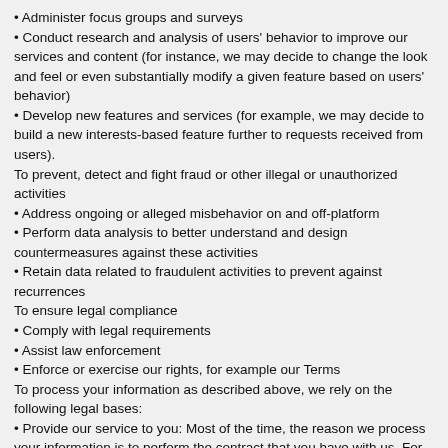• Administer focus groups and surveys
• Conduct research and analysis of users' behavior to improve our services and content (for instance, we may decide to change the look and feel or even substantially modify a given feature based on users' behavior)
• Develop new features and services (for example, we may decide to build a new interests-based feature further to requests received from users).
To prevent, detect and fight fraud or other illegal or unauthorized activities
• Address ongoing or alleged misbehavior on and off-platform
• Perform data analysis to better understand and design countermeasures against these activities
• Retain data related to fraudulent activities to prevent against recurrences
To ensure legal compliance
• Comply with legal requirements
• Assist law enforcement
• Enforce or exercise our rights, for example our Terms
To process your information as described above, we rely on the following legal bases:
• Provide our service to you: Most of the time, the reason we process your information is to perform the contract that you have with us. For instance, as you go about using our service to build meaningful connections, we use your information to maintain your account and your profile, to make it viewable to other users and recommend other users to you.
• Legitimate interests: We may use your information where we have legitimate interests to do so. For instance, we analyze users' behavior on our services to continuously improve our offerings, we suggest offers we think might interest you, and we process information for administrative, fraud detection and other legal purposes.
• Consent: From time to time, we may ask for your consent to use your